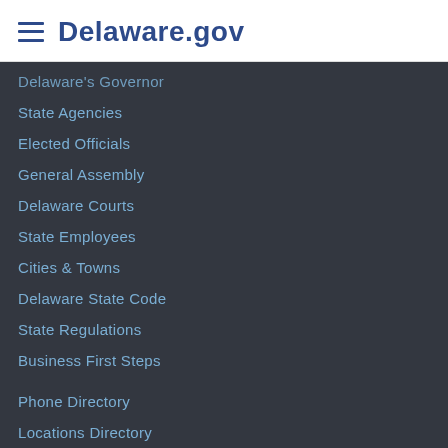Delaware.gov
Delaware's Governor
State Agencies
Elected Officials
General Assembly
Delaware Courts
State Employees
Cities & Towns
Delaware State Code
State Regulations
Business First Steps
Phone Directory
Locations Directory
Public Meetings
Voting & Elections
Transparency
Delaware Marketplace
Tax Center